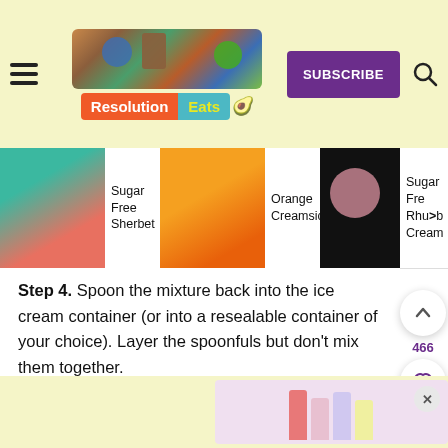Resolution Eats — SUBSCRIBE
[Figure (screenshot): Navigation strip with thumbnail images: Sugar Free Sherbet, Orange Creamsicles, Sugar Free Rhubarb Cream]
Step 4.  Spoon the mixture back into the ice cream container (or into a resealable container of your choice).  Layer the spoonfuls but don't mix them together.
Step 5.  Freeze until firm, 2-3 hours.
equipment
[Figure (screenshot): Bottom advertisement bar with popsicle image and close button]